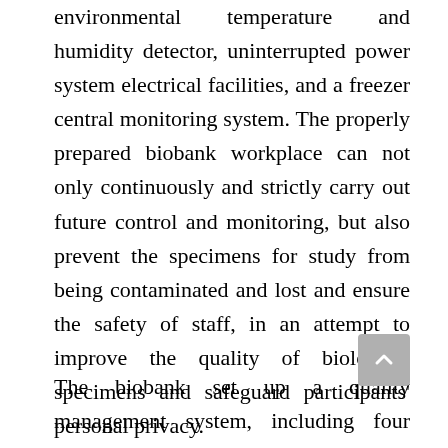environmental temperature and humidity detector, uninterrupted power system electrical facilities, and a freezer central monitoring system. The properly prepared biobank workplace can not only continuously and strictly carry out future control and monitoring, but also prevent the specimens for study from being contaminated and lost and ensure the safety of staff, in an attempt to improve the quality of biological specimens and safeguard participants' personal privacy.
The biobank set up a quality management system, including four stage documentation, QM, QR,